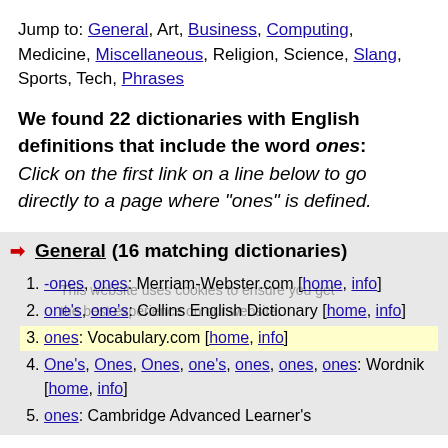Jump to: General, Art, Business, Computing, Medicine, Miscellaneous, Religion, Science, Slang, Sports, Tech, Phrases
We found 22 dictionaries with English definitions that include the word ones: Click on the first link on a line below to go directly to a page where "ones" is defined.
General (16 matching dictionaries)
-ones, ones: Merriam-Webster.com [home, info]
one's, one's: Collins English Dictionary [home, info]
ones: Vocabulary.com [home, info]
One's, Ones, Ones, one's, ones, ones, ones: Wordnik [home, info]
ones: Cambridge Advanced Learner's